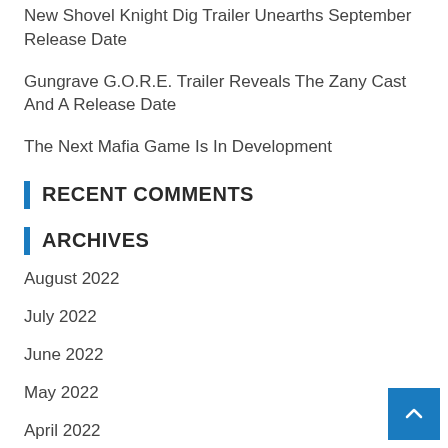New Shovel Knight Dig Trailer Unearths September Release Date
Gungrave G.O.R.E. Trailer Reveals The Zany Cast And A Release Date
The Next Mafia Game Is In Development
RECENT COMMENTS
ARCHIVES
August 2022
July 2022
June 2022
May 2022
April 2022